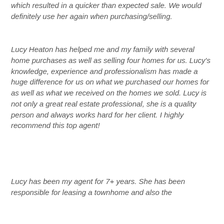which resulted in a quicker than expected sale. We would definitely use her again when purchasing/selling.
Lucy Heaton has helped me and my family with several home purchases as well as selling four homes for us. Lucy's knowledge, experience and professionalism has made a huge difference for us on what we purchased our homes for as well as what we received on the homes we sold. Lucy is not only a great real estate professional, she is a quality person and always works hard for her client. I highly recommend this top agent!
Lucy has been my agent for 7+ years. She has been responsible for leasing a townhome and also the